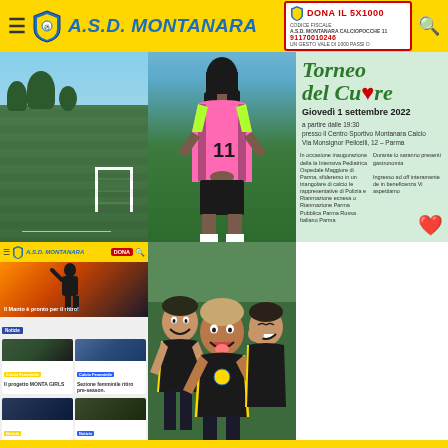A.S.D. MONTANARA — DONA IL 5X1000
[Figure (photo): Soccer field with green grass and goalposts, sunny day]
[Figure (photo): Female soccer player from behind wearing pink and black jersey number 11, on green field]
[Figure (photo): Torneo del Cuore flyer — Giovedi 1 settembre 2022, a partire dalle 19:30, presso il Centro Sportivo Montanara Calcio, Via Monsignor Pelicelli, 12 - Parma]
[Figure (screenshot): Screenshot of A.S.D. Montanara website showing news items: Il Manto è pronto per il ritiro!, Il progetto MONTA GIRLS, Sezione femminile ritiro pre-season, Bagione 2022/23 ISCRIZIONI aperte, Vieni al Monta!]
[Figure (photo): Three young boys in black soccer uniforms smiling and making funny faces]
[Figure (photo): Group of young soccer players in blue uniforms posing on a field, with video camera icon overlay]